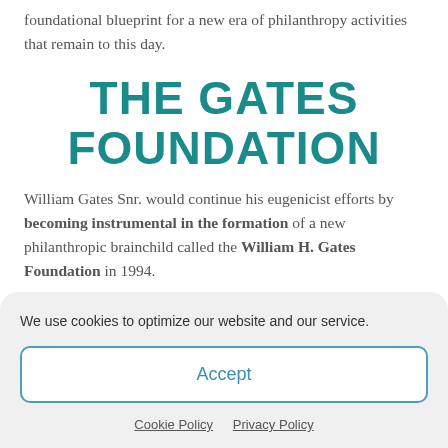foundational blueprint for a new era of philanthropy activities that remain to this day.
THE GATES FOUNDATION
William Gates Snr. would continue his eugenicist efforts by becoming instrumental in the formation of a new philanthropic brainchild called the William H. Gates Foundation in 1994.
The group, like Planned Parenthood,
We use cookies to optimize our website and our service.
Accept
Cookie Policy   Privacy Policy